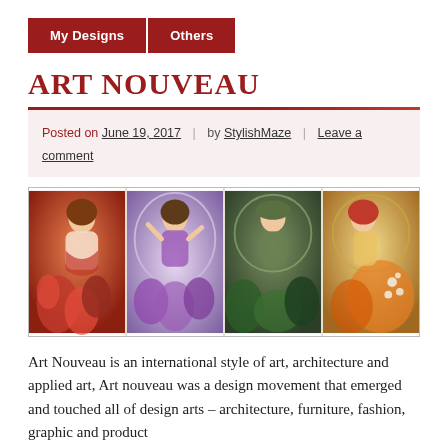My Designs | Others
ART NOUVEAU
Posted on June 19, 2017 | by StylishMaze | Leave a comment
[Figure (illustration): Four Art Nouveau style panels depicting women with flowers and natural motifs in red, purple, green, and orange color palettes.]
Art Nouveau is an international style of art, architecture and applied art, Art nouveau was a design movement that emerged and touched all of design arts – architecture, furniture, fashion, graphic and product